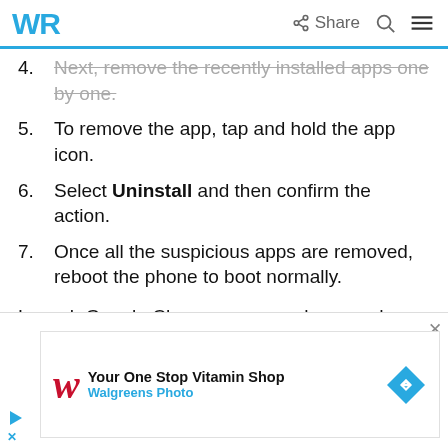WR | Share [search icon] [menu icon]
4. Next, remove the recently installed apps one by one.
5. To remove the app, tap and hold the app icon.
6. Select Uninstall and then confirm the action.
7. Once all the suspicious apps are removed, reboot the phone to boot normally.
Launch Google Chrome on your phone and check if the pop-up issue is resolved.
[Figure (other): Walgreens Photo advertisement banner: 'Your One Stop Vitamin Shop' with Walgreens logo and navigation arrow icon.]